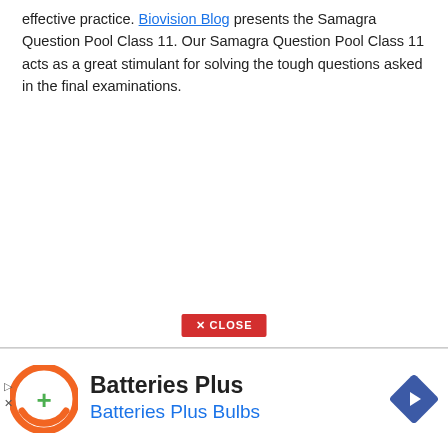effective practice. Biovision Blog presents the Samagra Question Pool Class 11. Our Samagra Question Pool Class 11 acts as a great stimulant for solving the tough questions asked in the final examinations.
[Figure (screenshot): Red 'X CLOSE' button centered near the bottom of the main content area]
[Figure (screenshot): Batteries Plus advertisement banner with orange circular logo, bold text 'Batteries Plus', blue subtitle 'Batteries Plus Bulbs', and a blue diamond navigation icon on the right]